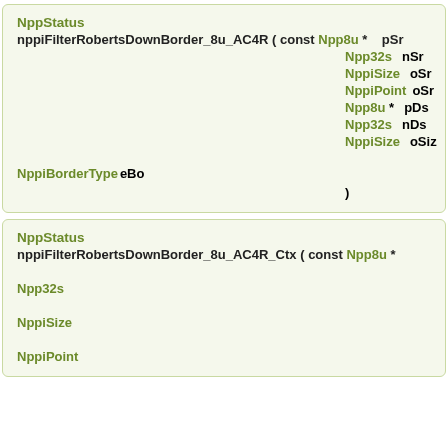NppStatus nppiFilterRobertsDownBorder_8u_AC4R ( const Npp8u * pSrc, Npp32s nSrc, NppiSize oSrc, NppiPoint oSrc, Npp8u * pDst, Npp32s nDs, NppiSize oSiz, NppiBorderType eBo )
NppStatus nppiFilterRobertsDownBorder_8u_AC4R_Ctx ( const Npp8u * pSrc, Npp32s, NppiSize, NppiPoint